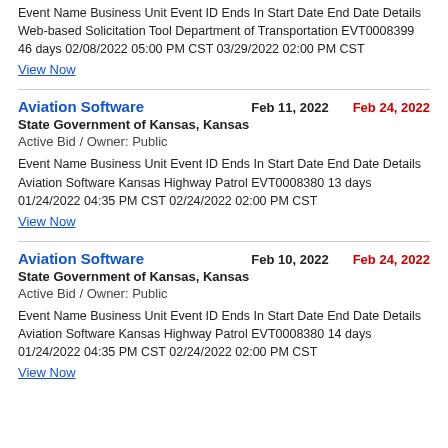Event Name Business Unit Event ID Ends In Start Date End Date Details Web-based Solicitation Tool Department of Transportation EVT0008399 46 days 02/08/2022 05:00 PM CST 03/29/2022 02:00 PM CST
View Now
Aviation Software
Feb 11, 2022
Feb 24, 2022
State Government of Kansas, Kansas
Active Bid / Owner: Public
Event Name Business Unit Event ID Ends In Start Date End Date Details Aviation Software Kansas Highway Patrol EVT0008380 13 days 01/24/2022 04:35 PM CST 02/24/2022 02:00 PM CST
View Now
Aviation Software
Feb 10, 2022
Feb 24, 2022
State Government of Kansas, Kansas
Active Bid / Owner: Public
Event Name Business Unit Event ID Ends In Start Date End Date Details Aviation Software Kansas Highway Patrol EVT0008380 14 days 01/24/2022 04:35 PM CST 02/24/2022 02:00 PM CST
View Now